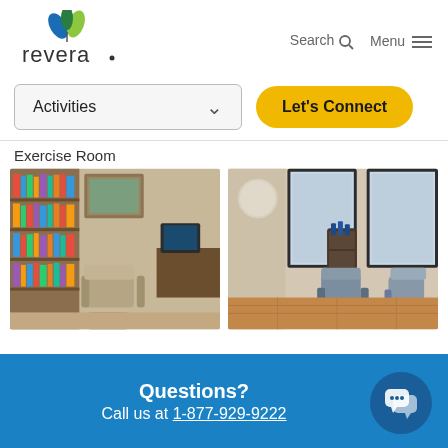[Figure (logo): Revera logo with stylized leaf/flower in blue and green colors, with text 'revera' below]
Search  Menu
Activities  ∨
Let's Connect
Exercise Room
[Figure (photo): Interior of a library/lounge room with bookshelves, patterned armchairs, a desk with computer monitor, and a framed painting on the wall]
[Figure (photo): Interior of a hair salon with styling chairs, mirrors, a trolley with hair products, and hardwood flooring]
Questions? Call us at 1-877-929-9222